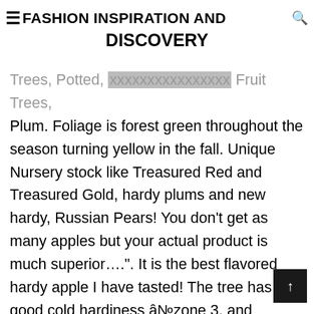FASHION INSPIRATION AND DISCOVERY
Trees, Potted, xxxxxxxx xxxxxx Fruit Trees, Plum. Foliage is forest green throughout the season turning yellow in the fall. Unique Nursery stock like Treasured Red and Treasured Gold, hardy plums and new hardy, Russian Pears! You don’t get as many apples but your actual product is much superior….”. It is the best flavored hardy apple I have tasted! The tree has good cold hardiness â¿zone 3, and disease resistance. Tomorrow I will be picking lots of Prairie Sensation and smaller amounts of 5 of Diamonds, Orange â¦ The farm